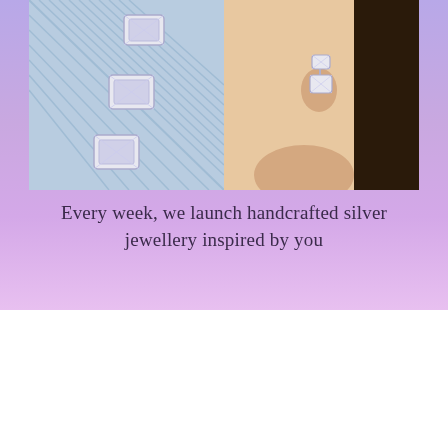[Figure (photo): Two product photos side by side: left shows crystal/diamond jewellery pieces on a light blue ribbed fabric background; right shows a woman's ear wearing crystal drop earrings]
Every week, we launch handcrafted silver jewellery inspired by you
Why People Love Us
Based on 4 reviews
[Figure (infographic): Star rating row: 5 gold stars with yellow rating bar, and a pink SEND button]